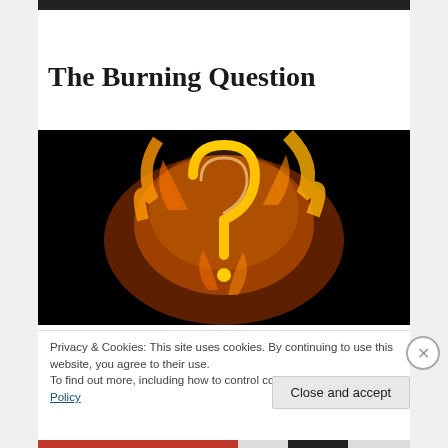[Figure (photo): Narrow strip of a dark image at the top of the page]
The Burning Question
[Figure (photo): A fiery question mark shape made of orange and yellow flames against a black background]
Privacy & Cookies: This site uses cookies. By continuing to use this website, you agree to their use.
To find out more, including how to control cookies, see here: Cookie Policy
Close and accept